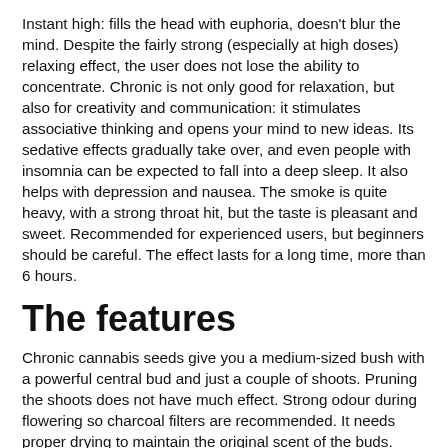Instant high: fills the head with euphoria, doesn't blur the mind. Despite the fairly strong (especially at high doses) relaxing effect, the user does not lose the ability to concentrate. Chronic is not only good for relaxation, but also for creativity and communication: it stimulates associative thinking and opens your mind to new ideas. Its sedative effects gradually take over, and even people with insomnia can be expected to fall into a deep sleep. It also helps with depression and nausea. The smoke is quite heavy, with a strong throat hit, but the taste is pleasant and sweet. Recommended for experienced users, but beginners should be careful. The effect lasts for a long time, more than 6 hours.
The features
Chronic cannabis seeds give you a medium-sized bush with a powerful central bud and just a couple of shoots. Pruning the shoots does not have much effect. Strong odour during flowering so charcoal filters are recommended. It needs proper drying to maintain the original scent of the buds. Flowering takes 8-9 weeks; outside Harvest comes in October.